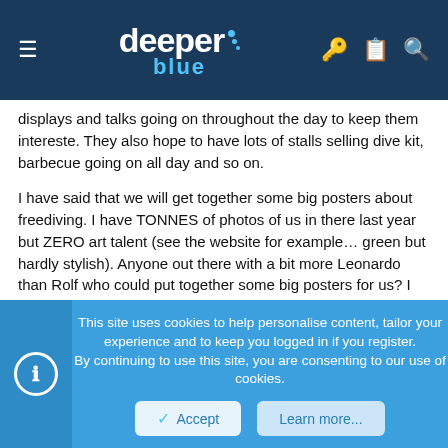deeper blue
displays and talks going on throughout the day to keep them intereste. They also hope to have lots of stalls selling dive kit, barbecue going on all day and so on.
I have said that we will get together some big posters about freediving. I have TONNES of photos of us in there last year but ZERO art talent (see the website for example… green but hardly stylish). Anyone out there with a bit more Leonardo than Rolf who could put together some big posters for us? I saw some great ones at the Dutch Recreational Freedive Meet and will try and get a copy to work from. saltFree will pay reasonable production costs.
Let me know
I also need someone to volunteer to give a short (30mins) talk and maybe
This site uses cookies to help personalise content, tailor your experience and to keep you logged in if you register.
By continuing to use this site, you are consenting to our use of cookies.